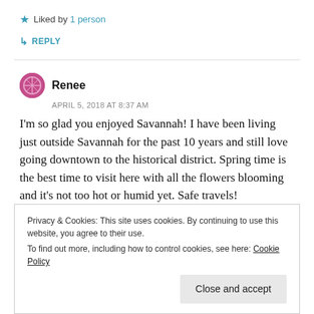★ Liked by 1 person
↳ REPLY
Renee
APRIL 5, 2018 AT 8:37 AM
I'm so glad you enjoyed Savannah! I have been living just outside Savannah for the past 10 years and still love going downtown to the historical district. Spring time is the best time to visit here with all the flowers blooming and it's not too hot or humid yet. Safe travels!
Privacy & Cookies: This site uses cookies. By continuing to use this website, you agree to their use.
To find out more, including how to control cookies, see here: Cookie Policy
Close and accept